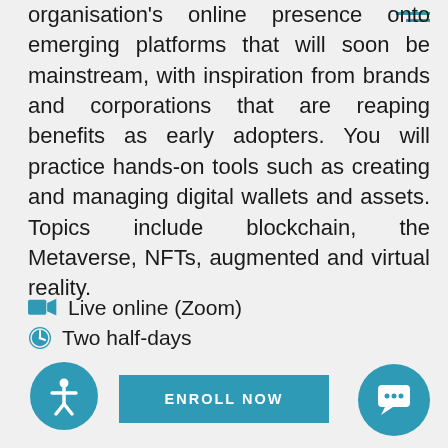organisation's online presence onto emerging platforms that will soon be mainstream, with inspiration from brands and corporations that are reaping benefits as early adopters. You will practice hands-on tools such as creating and managing digital wallets and assets. Topics include blockchain, the Metaverse, NFTs, augmented and virtual reality.
Live online (Zoom)
Two half-days
ENROLL NOW